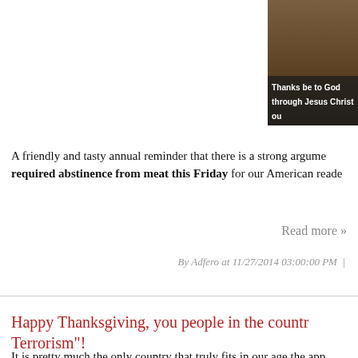[Figure (photo): Partial image of an outdoor/nature scene with a caption bar at the bottom reading 'Thanks be to God through Jesus Christ our']
A friendly and tasty annual reminder that there is a strong argument for required abstinence from meat this Friday for our American reader
Read more »
By Adfero at 11/27/2014 03:00:00 PM
Happy Thanksgiving, you people in the country... "Terrorism"!
It is pretty much the only country that truly fits in our age the app Francis: the United States of America.